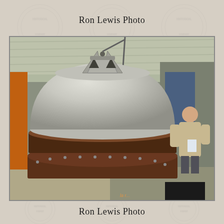Ron Lewis Photo
[Figure (photo): Large industrial casting or bell-shaped metal dome component, silver/gray colored with triangular lifting lugs on top, sitting on a circular iron ring/flange assembly with bolts, inside a workshop or foundry with a corrugated metal roof. A man in a beige jacket and glasses stands to the right examining the part. Orange metal framework visible on the left.]
Ron Lewis Photo